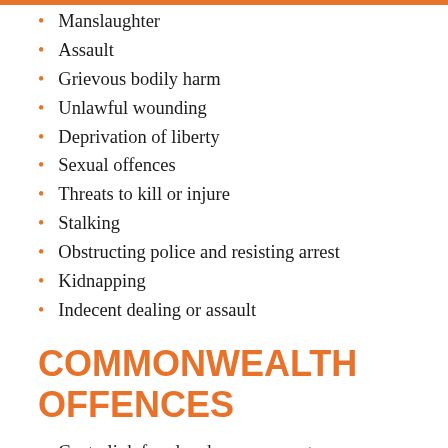Manslaughter
Assault
Grievous bodily harm
Unlawful wounding
Deprivation of liberty
Sexual offences
Threats to kill or injure
Stalking
Obstructing police and resisting arrest
Kidnapping
Indecent dealing or assault
COMMONWEALTH OFFENCES
Centrelink fraud and overpayments
Drug importation
Customs offences
Quarantine offences